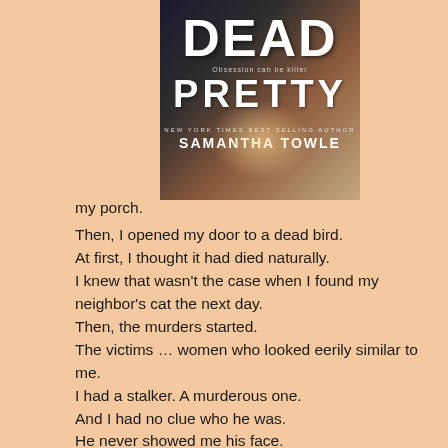[Figure (illustration): Book cover of 'Dead Pretty' by Samantha Towle. Dark background with large white bold text 'DEAD' at top and 'PRETTY' below, tagline 'Obsession can be killer', and 'NEW YORK TIMES BEST SELLING AUTHOR SAMANTHA TOWLE' at bottom. Warm glowing light in center background.]
my porch.
Then, I opened my door to a dead bird.
At first, I thought it had died naturally.
I knew that wasn't the case when I found my neighbor's cat the next day.
Then, the murders started.
The victims … women who looked eerily similar to me.
I had a stalker. A murderous one.
And I had no clue who he was.
He never showed me his face.
Not even when he carved his final message into me.
I survived that night. But my life was over. It had ended the moment Tobias Ripley's infatuation with me began.
So, I changed my name and moved away.